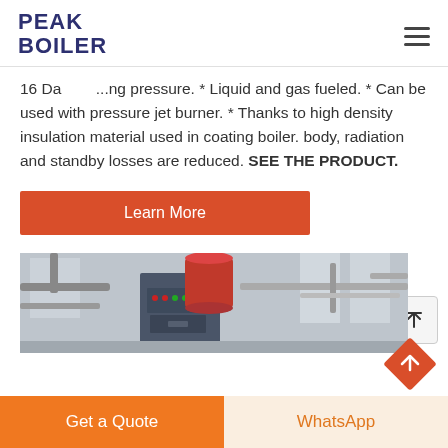PEAK BOILER
16 Da... ...ng pressure. * Liquid and gas fueled. * Can be used with pressure jet burner. * Thanks to high density insulation material used in coating boiler. body, radiation and standby losses are reduced. SEE THE PRODUCT.
[Figure (screenshot): Learn More button - orange/red rectangle with white text]
[Figure (photo): Industrial boiler equipment in a facility - blue/grey control unit with red cylindrical component and piping visible]
Get a Quote | WhatsApp